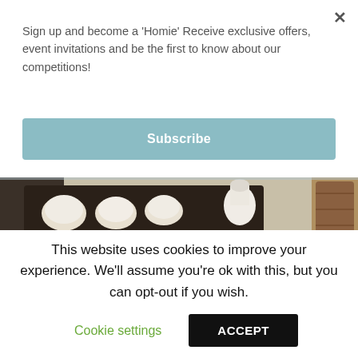Sign up and become a 'Homie' Receive exclusive offers, event invitations and be the first to know about our competitions!
Subscribe
[Figure (photo): Photo of a wooden table with tea cups, a wicker basket filled with condiments, a notebook, and decorative fabric in the background.]
This website uses cookies to improve your experience. We'll assume you're ok with this, but you can opt-out if you wish.
Cookie settings
ACCEPT